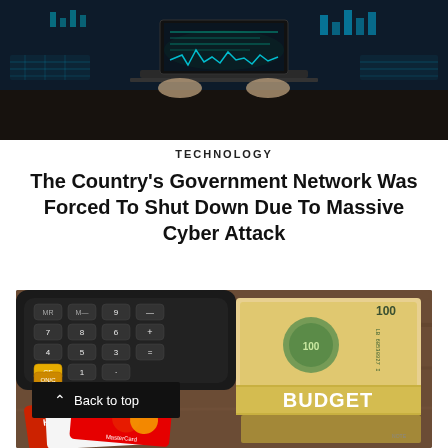[Figure (photo): Person typing on laptop with glowing digital/cyber overlay and holographic data displays in blue-green tones on dark background]
TECHNOLOGY
The Country's Government Network Was Forced To Shut Down Due To Massive Cyber Attack
[Figure (photo): Calculator, credit cards (VISA, MasterCard, HSBC) and a stack of US 100 dollar bills wrapped in a band labeled BUDGET on a wooden surface]
Back to top